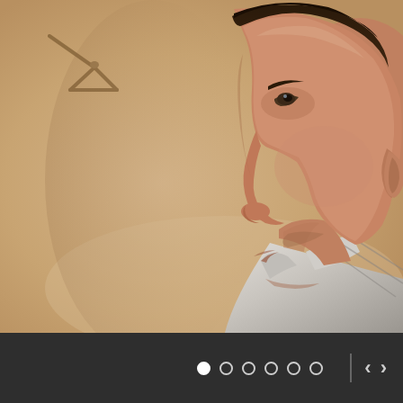[Figure (photo): Side profile of a young man with dark short hair, looking left, wearing a light-colored collared shirt. Background is warm beige/tan, with what appears to be a coat hanger visible in the upper left. The photo has a warm, soft-focus quality.]
[Figure (infographic): Dark gray navigation bar at the bottom with six pagination dots (first one filled white, rest outlined), a vertical divider line, and left/right arrow navigation buttons on the right side.]